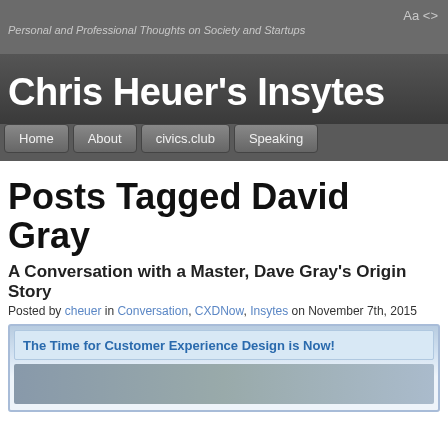Personal and Professional Thoughts on Society and Startups
Chris Heuer's Insytes
Home | About | civics.club | Speaking
Posts Tagged David Gray
A Conversation with a Master, Dave Gray's Origin Story
Posted by cheuer in Conversation, CXDNow, Insytes on November 7th, 2015
[Figure (screenshot): Embedded blog post preview showing 'The Time for Customer Experience Design is Now!' link with a header image below]